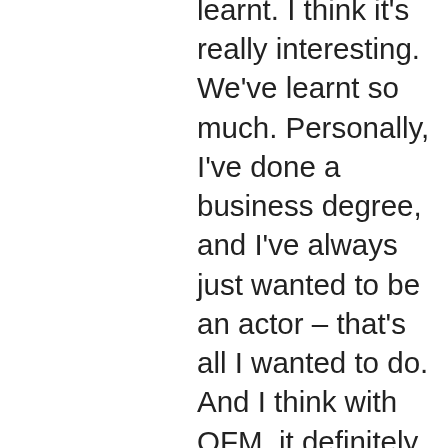learnt. I think it's really interesting. We've learnt so much. Personally, I've done a business degree, and I've always just wanted to be an actor – that's all I wanted to do. And I think with QFM, it definitely gave me more purpose, and I realised that I'm actually pretty good at managing and pretty good at organising, and it gave me a newfound fire for something else– which was really nice. Because I do say to people, if you can find anything else that you'd like to do, do that instead of acting, because acting is hard! [...] At the moment there's nothing [going on in theatre] anyway, so I'm gonna try and diversify my career.
Team managing has been huge. [...] I'm lucky that I'm kind of a good team manager, I know that about myself– and